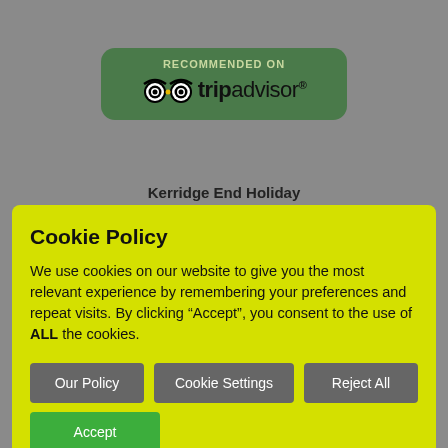[Figure (logo): TripAdvisor 'Recommended On' badge with green rounded rectangle background, owl logo, and tripadvisor wordmark]
Kerridge End Holiday
Cookie Policy
We use cookies on our website to give you the most relevant experience by remembering your preferences and repeat visits. By clicking “Accept”, you consent to the use of ALL the cookies.
Our Policy | Cookie Settings | Reject All | Accept
[Figure (screenshot): Bottom booking button: calendar icon followed by 'View Prices and Availability / Book Now' on olive/dark yellow rounded pill button, with grey circle scroll-up arrow on right]